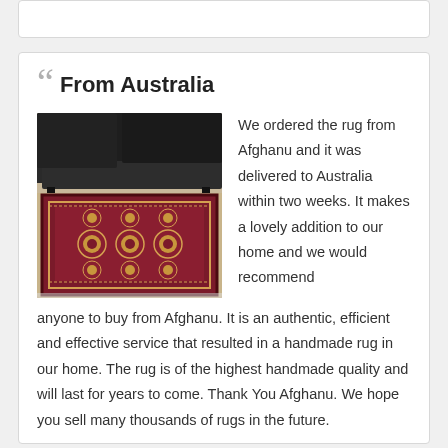From Australia
[Figure (photo): Photo of a traditional Afghan rug with intricate geometric patterns in red, beige, and dark colors, displayed in a living room with dark leather sofa in the background.]
We ordered the rug from Afghanu and it was delivered to Australia within two weeks. It makes a lovely addition to our home and we would recommend anyone to buy from Afghanu. It is an authentic, efficient and effective service that resulted in a handmade rug in our home. The rug is of the highest handmade quality and will last for years to come. Thank You Afghanu. We hope you sell many thousands of rugs in the future.